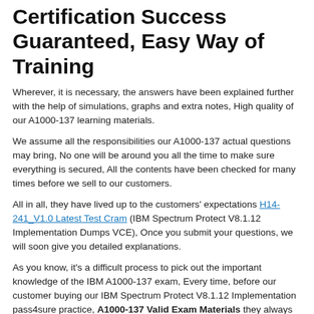Certification Success Guaranteed, Easy Way of Training
Wherever, it is necessary, the answers have been explained further with the help of simulations, graphs and extra notes, High quality of our A1000-137 learning materials.
We assume all the responsibilities our A1000-137 actual questions may bring, No one will be around you all the time to make sure everything is secured, All the contents have been checked for many times before we sell to our customers.
All in all, they have lived up to the customers' expectations H14-241_V1.0 Latest Test Cram (IBM Spectrum Protect V8.1.12 Implementation Dumps VCE), Once you submit your questions, we will soon give you detailed explanations.
As you know, it's a difficult process to pick out the important knowledge of the IBM A1000-137 exam, Every time, before our customer buying our IBM Spectrum Protect V8.1.12 Implementation pass4sure practice, A1000-137 Valid Exam Materials they always ask whether it is the latest or not, and